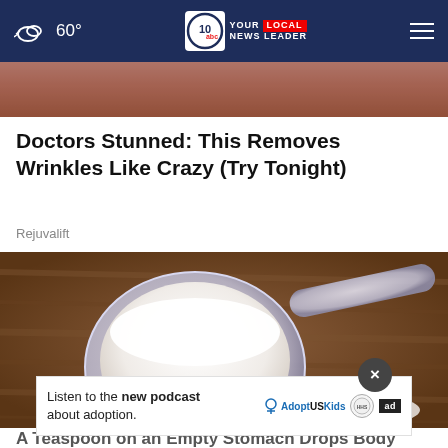60° NEWS10 YOUR LOCAL NEWS LEADER
[Figure (photo): Partial top image strip showing brownish background (hair or fabric texture)]
Doctors Stunned: This Removes Wrinkles Like Crazy (Try Tonight)
Rejuvalift
[Figure (photo): Photo of a clear plastic measuring scoop filled with white powder sitting on a wooden surface, with some powder spilled beside it]
Listen to the new podcast about adoption.
A Teaspoon on an Empty Stomach Drops Body